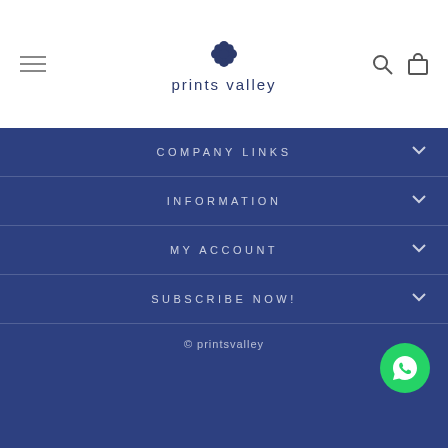prints valley
COMPANY LINKS
INFORMATION
MY ACCOUNT
SUBSCRIBE NOW!
© printsvalley